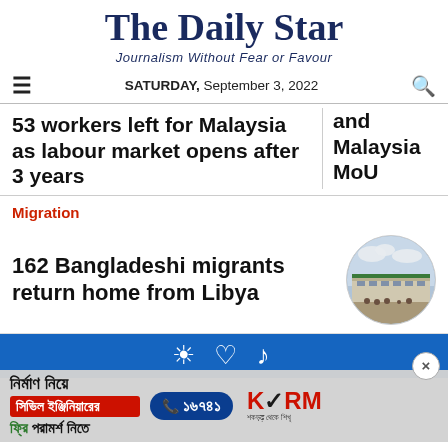The Daily Star
Journalism Without Fear or Favour
SATURDAY, September 3, 2022
53 workers left for Malaysia as labour market opens after 3 years
and Malaysia MoU
Migration
162 Bangladeshi migrants return home from Libya
[Figure (photo): Circular thumbnail photo of an airport terminal building]
[Figure (photo): Advertisement banner in Bengali for civil engineering consultation. Text includes: নির্মাণ নিয়ে, সিভিল ইঞ্জিনিয়ারের, ফ্রি পরামর্শ নিতে, phone number ১৬৭৪১, KSRM brand logo]